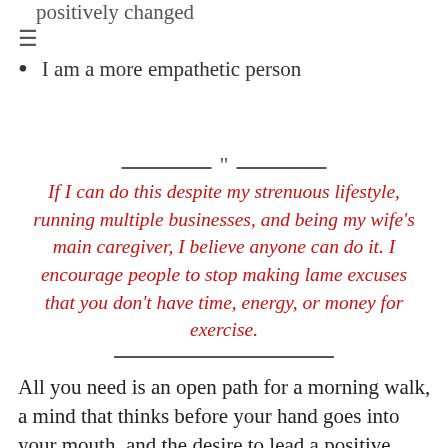positively changed
≡
I am a more empathetic person
" (decorative divider with quote mark)
If I can do this despite my strenuous lifestyle, running multiple businesses, and being my wife's main caregiver, I believe anyone can do it. I encourage people to stop making lame excuses that you don't have time, energy, or money for exercise.
All you need is an open path for a morning walk, a mind that thinks before your hand goes into your mouth, and the desire to lead a positive, healthy, and happier lifestyle. So make it a fect you commit to, th